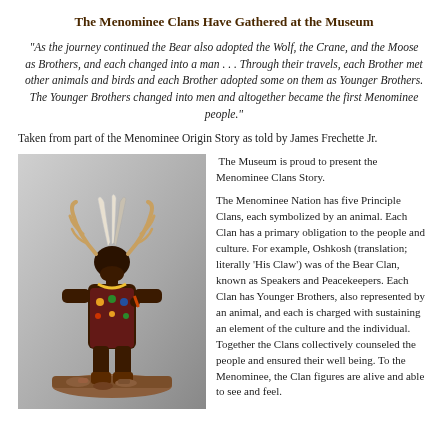The Menominee Clans Have Gathered at the Museum
“As the journey continued the Bear also adopted the Wolf, the Crane, and the Moose as Brothers, and each changed into a man . . . Through their travels, each Brother met other animals and birds and each Brother adopted some on them as Younger Brothers. The Younger Brothers changed into men and altogether became the first Menominee people.”
Taken from part of the Menominee Origin Story as told by James Frechette Jr.
[Figure (photo): A figurine or sculpture depicting a Menominee clan figure dressed in traditional regalia including a moose head headdress with antlers and feathers, colorful beaded vest, traditional clothing, standing on a wooden base with small bowls and objects arranged around the base.]
The Museum is proud to present the Menominee Clans Story.

The Menominee Nation has five Principle Clans, each symbolized by an animal. Each Clan has a primary obligation to the people and culture. For example, Oshkosh (translation; literally ‘His Claw’) was of the Bear Clan, known as Speakers and Peacekeepers. Each Clan has Younger Brothers, also represented by an animal, and each is charged with sustaining an element of the culture and the individual. Together the Clans collectively counseled the people and ensured their well being. To the Menominee, the Clan figures are alive and able to see and feel.